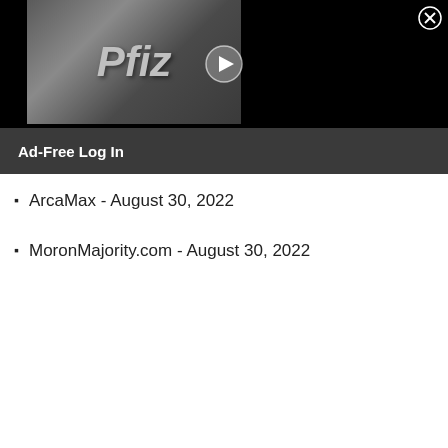[Figure (screenshot): Video thumbnail showing Pfizer logo on building exterior with play button overlay, black background on sides, and close (X) button in top right corner]
Ad-Free Log In
ArcaMax - August 30, 2022
MoronMajority.com - August 30, 2022